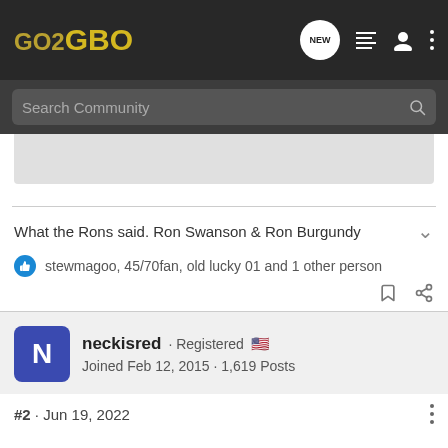GO2GBO — Navigation bar with logo, new posts, list, profile, and menu icons
Search Community
What the Rons said. Ron Swanson & Ron Burgundy
stewmagoo, 45/70fan, old lucky 01 and 1 other person
neckisred · Registered 🇺🇸
Joined Feb 12, 2015 · 1,619 Posts
#2 · Jun 19, 2022